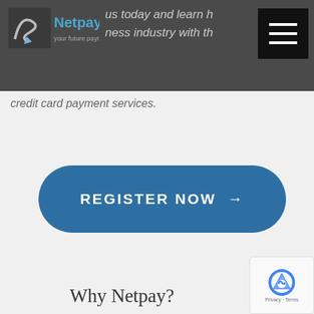Netpay — your future payment — us today and learn h... ness industry with th... credit card payment services.
[Figure (logo): Netpay logo with stylized S-arrow graphic in blue/grey, tagline 'your future payment']
us today and learn h... ness industry with th...
credit card payment services.
[Figure (other): Register Now button — large rounded pill-shaped blue button with white bold text 'REGISTER NOW →']
Why Netpay?